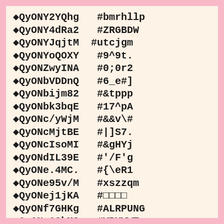◆QyONY2YQhg  #bmrhllp
◆QyONY4dRa2  #ZRGBDW
◆QyONYJqjtM  #utcjgm
◆QyONYoQOXY  #9^9t.
◆QyONZwyINA  #0;0r2
◆QyONbVDDnQ  #6_e#]
◆QyONbijm82  #&tppp
◆QyONbk3bqE  #17^pA
◆QyONc/yWjM  #&&v\#
◆QyONcMjtBE  #|]S7.
◆QyONcIsoMI  #&gHYj
◆QyONdIL39E  #'/F'g
◆QyONe.4MC.  #{\eR1
◆QyONe95v/M  #xszzqm
◆QyONej1jKA  #□□□□
◆QyONf7GHKg  #ALRPUNG
◆QyONg68kM2  #VPXVWT
◆QyONgLvgJ.  #□□□□
◆QyONgOoIZU  #bopghxx